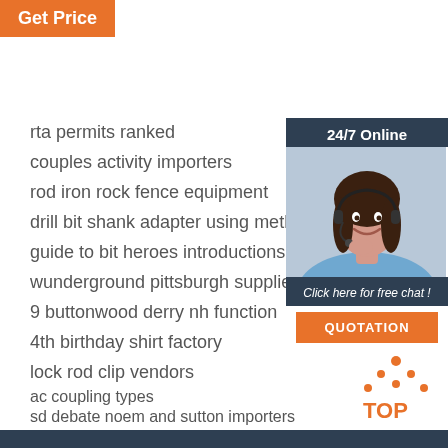Get Price
rta permits ranked
couples activity importers
rod iron rock fence equipment
drill bit shank adapter using method
guide to bit heroes introductions
wunderground pittsburgh supplier
9 buttonwood derry nh function
4th birthday shirt factory
lock rod clip vendors
ac coupling types
sd debate noem and sutton importers
dth hammer suppliers manufacture
[Figure (illustration): Customer service representative with headset, sidebar with 24/7 Online label, Click here for free chat text, and QUOTATION button]
[Figure (logo): TOP logo with orange dots forming triangle above the word TOP]